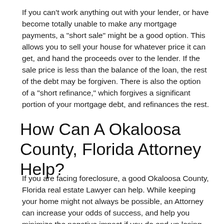If you can't work anything out with your lender, or have become totally unable to make any mortgage payments, a "short sale" might be a good option. This allows you to sell your house for whatever price it can get, and hand the proceeds over to the lender. If the sale price is less than the balance of the loan, the rest of the debt may be forgiven. There is also the option of a "short refinance," which forgives a significant portion of your mortgage debt, and refinances the rest.
How Can A Okaloosa County, Florida Attorney Help?
If you are facing foreclosure, a good Okaloosa County, Florida real estate Lawyer can help. While keeping your home might not always be possible, an Attorney can increase your odds of success, and help you minimize the negative impact if you do end up losing your home.